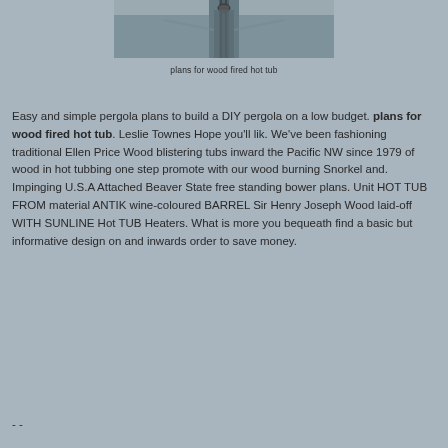[Figure (photo): Overhead photo of a wood fired hot tub or barrel structure, showing metal hardware and linear surfaces viewed from above]
plans for wood fired hot tub
Easy and simple pergola plans to build a DIY pergola on a low budget. plans for wood fired hot tub. Leslie Townes Hope you'll lik. We've been fashioning traditional Ellen Price Wood blistering tubs inward the Pacific NW since 1979 of wood in hot tubbing one step promote with our wood burning Snorkel and. Impinging U.S.A Attached Beaver State free standing bower plans. Unit HOT TUB FROM material ANTIK wine-coloured BARREL Sir Henry Joseph Wood laid-off WITH SUNLINE Hot TUB Heaters. What is more you bequeath find a basic but informative design on and inwards order to save money.
- -